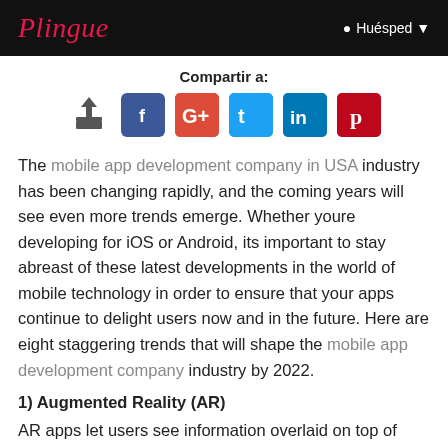Plingue | Huésped
Compartir a:
[Figure (other): Social sharing icons: upload/share, Facebook, Google+, Twitter, LinkedIn, Pinterest]
The mobile app development company in USA industry has been changing rapidly, and the coming years will see even more trends emerge. Whether youre developing for iOS or Android, its important to stay abreast of these latest developments in the world of mobile technology in order to ensure that your apps continue to delight users now and in the future. Here are eight staggering trends that will shape the mobile app development company industry by 2022.
1) Augmented Reality (AR)
AR apps let users see information overlaid on top of their physical environment. Users can view